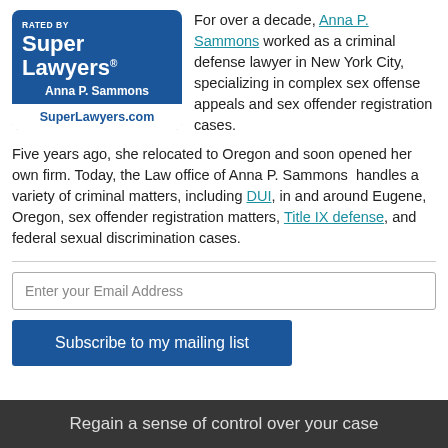[Figure (logo): Super Lawyers badge: dark blue rounded rectangle with 'RATED BY' text, 'Super Lawyers' large bold text, 'Anna P. Sammons' name, and 'SuperLawyers.com' in white box at bottom]
For over a decade, Anna P. Sammons worked as a criminal defense lawyer in New York City, specializing in complex sex offense appeals and sex offender registration cases. Five years ago, she relocated to Oregon and soon opened her own firm. Today, the Law office of Anna P. Sammons  handles a variety of criminal matters, including DUI, in and around Eugene, Oregon, sex offender registration matters, Title IX defense, and federal sexual discrimination cases.
Enter your Email Address
Subscribe to my mailing list
Regain a sense of control over your case